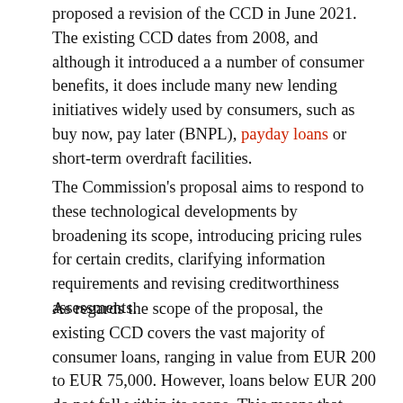proposed a revision of the CCD in June 2021. The existing CCD dates from 2008, and although it introduced a a number of consumer benefits, it does include many new lending initiatives widely used by consumers, such as buy now, pay later (BNPL), payday loans or short-term overdraft facilities.
The Commission's proposal aims to respond to these technological developments by broadening its scope, introducing pricing rules for certain credits, clarifying information requirements and revising creditworthiness assessments.
As regards the scope of the proposal, the existing CCD covers the vast majority of consumer loans, ranging in value from EUR 200 to EUR 75,000. However, loans below EUR 200 do not fall within its scope. This means that many of the BNPL loans that are so widely used these days are not covered by the existing rules. The proposed CCD aims to change this situation by including BNPL schemes, payday loans, short-term overdrafts, interest-free credits and loans offered through crowdlending platforms